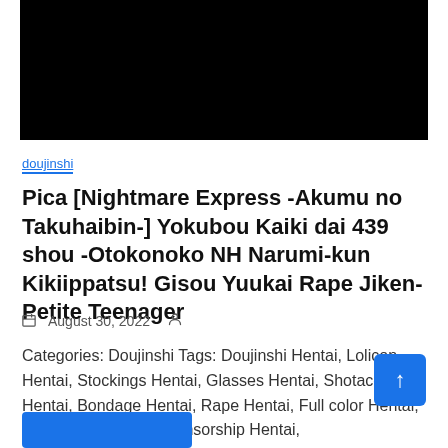[Figure (photo): Black redacted/censored image banner at top of page]
doujinshi
Pica [Nightmare Express -Akumu no Takuhaibin-] Yokubou Kaiki dai 439 shou -Otokonoko NH Narumi-kun Kikiippatsu! Gisou Yuukai Rape Jiken-Petite Teenager
August 30, 2022
Categories: Doujinshi Tags: Doujinshi Hentai, Lolicon Hentai, Stockings Hentai, Glasses Hentai, Shotacon Hentai, Bondage Hentai, Rape Hentai, Full color Hentai, Yaoi Hentai, Mosaic censorship Hentai,